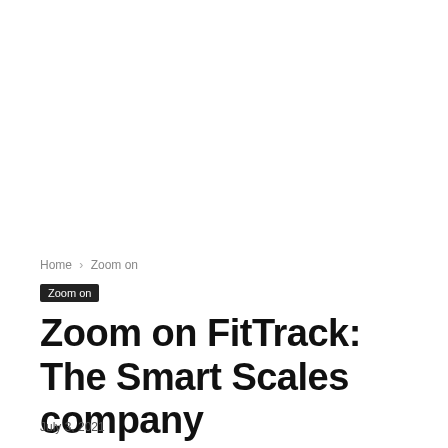Home › Zoom on
Zoom on
Zoom on FitTrack: The Smart Scales company
July 3, 2021